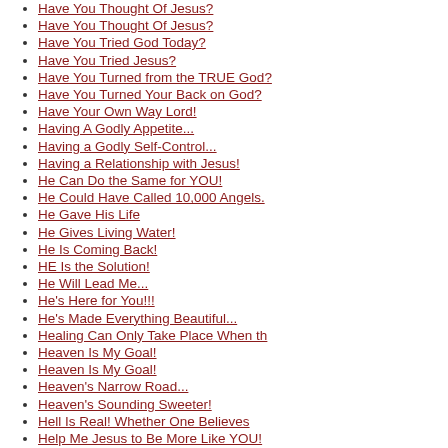Have You Thought Of Jesus?
Have You Thought Of Jesus?
Have You Tried God Today?
Have You Tried Jesus?
Have You Turned from the TRUE God?
Have You Turned Your Back on God?
Have Your Own Way Lord!
Having A Godly Appetite...
Having a Godly Self-Control...
Having a Relationship with Jesus!
He Can Do the Same for YOU!
He Could Have Called 10,000 Angels.
He Gave His Life
He Gives Living Water!
He Is Coming Back!
HE Is the Solution!
He Will Lead Me...
He's Here for You!!!
He's Made Everything Beautiful...
Healing Can Only Take Place When th
Heaven Is My Goal!
Heaven Is My Goal!
Heaven's Narrow Road...
Heaven's Sounding Sweeter!
Hell Is Real! Whether One Believes
Help Me Jesus to Be More Like YOU!
Help Me to Be Broken...
Help Me To Be More Like Christ!
Help Me to Make a Difference!
Helping A Friend